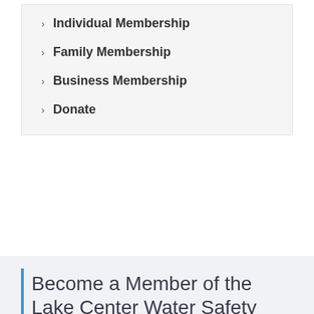Individual Membership
Family Membership
Business Membership
Donate
Become a Member of the Lake Center Water Safety